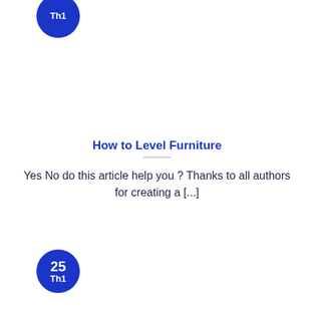[Figure (other): Blue circular badge with text 'Th1' (top, partially cropped)]
How to Level Furniture
Yes No do this article help you ? Thanks to all authors for creating a [...]
[Figure (other): Blue circular badge with number '25' and text 'Th1' below]